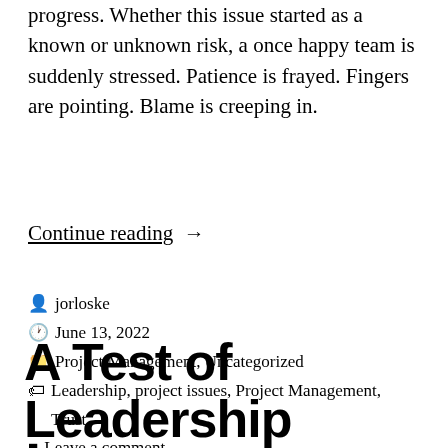progress. Whether this issue started as a known or unknown risk, a once happy team is suddenly stressed. Patience is frayed. Fingers are pointing. Blame is creeping in.
Continue reading  →
jorloske
June 13, 2022
Project Management, Uncategorized
Leadership, project issues, Project Management, Trust
Leave a comment
A Test of Leadership